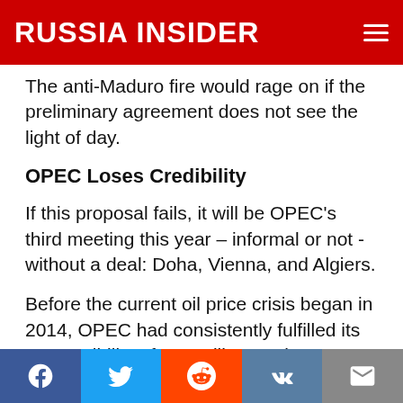RUSSIA INSIDER
The anti-Maduro fire would rage on if the preliminary agreement does not see the light of day.
OPEC Loses Credibility
If this proposal fails, it will be OPEC's third meeting this year – informal or not -without a deal: Doha, Vienna, and Algiers.
Before the current oil price crisis began in 2014, OPEC had consistently fulfilled its responsibility of controlling market oversupply. The bloc's members control just over 40 percent of the
Facebook | Twitter | Reddit | VK | Email